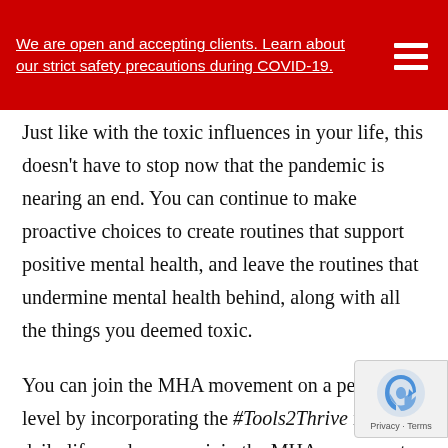We are open and accepting clients. Learn about our strict safety precautions during COVID-19.
Just like with the toxic influences in your life, this doesn't have to stop now that the pandemic is nearing an end. You can continue to make proactive choices to create routines that support positive mental health, and leave the routines that undermine mental health behind, along with all the things you deemed toxic.
You can join the MHA movement on a personal level by incorporating the #Tools2Thrive into your daily life, and you can join the MHA movement as an advocate by visiting the Mental Health Awareness Website, downloading their citizen media toolkit, and sharing